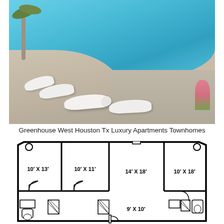[Figure (photo): Luxury apartment complex outdoor pool with white lounge chairs and palm trees, viewed from poolside deck]
Greenhouse West Houston Tx Luxury Apartments Townhomes
[Figure (engineering-diagram): Apartment floor plan showing rooms labeled: 10' X 13', 10' X 11', 14' X 18', 10' X 18', 9' X 10' with bathrooms and other spaces]